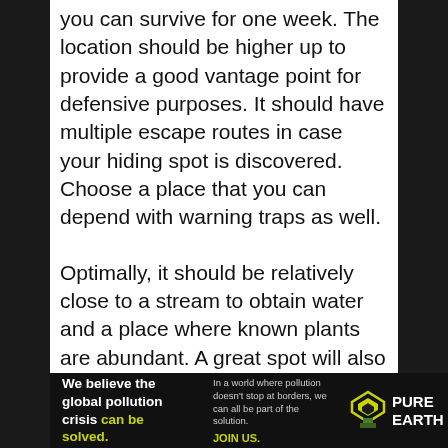you can survive for one week. The location should be higher up to provide a good vantage point for defensive purposes. It should have multiple escape routes in case your hiding spot is discovered. Choose a place that you can depend with warning traps as well.

Optimally, it should be relatively close to a stream to obtain water and a place where known plants are abundant. A great spot will also have prevalent wildlife such as rabbit and deer, any animals that can be snared and trapped.
[Figure (infographic): Pure Earth advertisement banner with black background. Left section: bold white text 'We believe the global pollution crisis' with 'can be solved.' in yellow-green. Middle: small white text 'In a world where pollution doesn't stop at borders, we can all be part of the solution.' with yellow-green 'JOIN US.' Right: Pure Earth logo with diamond/chevron icon and white bold text 'PURE EARTH'.]